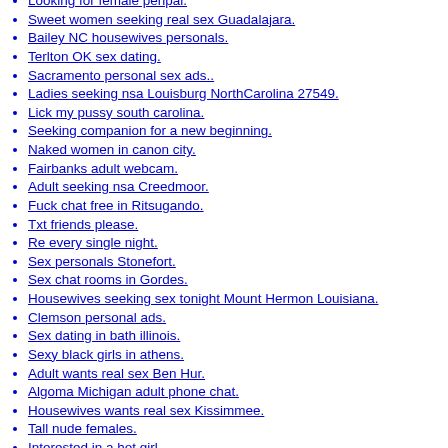Looking for female penpal.
Sweet women seeking real sex Guadalajara.
Bailey NC housewives personals.
Terlton OK sex dating.
Sacramento personal sex ads..
Ladies seeking nsa Louisburg NorthCarolina 27549.
Lick my pussy south carolina.
Seeking companion for a new beginning.
Naked women in canon city.
Fairbanks adult webcam.
Adult seeking nsa Creedmoor.
Fuck chat free in Ritsugando.
Txt friends please.
Re every single night.
Sex personals Stonefort.
Sex chat rooms in Gordes.
Housewives seeking sex tonight Mount Hermon Louisiana.
Clemson personal ads.
Sex dating in bath illinois.
Sexy black girls in athens.
Adult wants real sex Ben Hur.
Algoma Michigan adult phone chat.
Housewives wants real sex Kissimmee.
Tall nude females.
Interested in a hot girl.